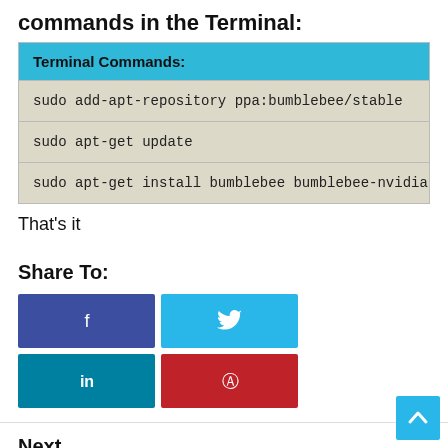commands in the Terminal:
| Terminal Commands: |
| --- |
| sudo add-apt-repository ppa:bumblebee/stable |
| sudo apt-get update |
| sudo apt-get install bumblebee bumblebee-nvidia linu… |
That's it
Share To:
[Figure (infographic): Social share buttons: Facebook (dark blue with f icon), Twitter (light blue with bird icon), LinkedIn (teal with in icon), Pinterest (red with P icon)]
Next
« High-Delight icons for Ubuntu/Linux Mint/Other Ubuntu Derivatives [Updated]